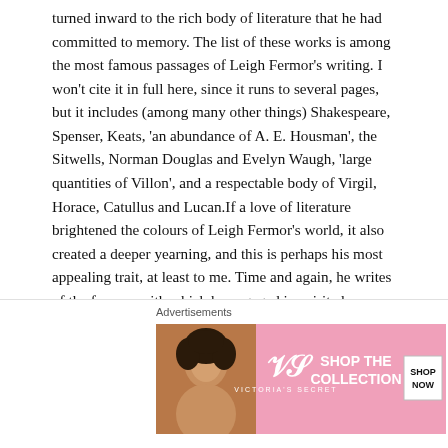turned inward to the rich body of literature that he had committed to memory. The list of these works is among the most famous passages of Leigh Fermor's writing. I won't cite it in full here, since it runs to several pages, but it includes (among many other things) Shakespeare, Spenser, Keats, 'an abundance of A. E. Housman', the Sitwells, Norman Douglas and Evelyn Waugh, 'large quantities of Villon', and a respectable body of Virgil, Horace, Catullus and Lucan.If a love of literature brightened the colours of Leigh Fermor's world, it also created a deeper yearning, and this is perhaps his most appealing trait, at least to me. Time and again, he writes of the fervour with which he engaged in spirited conversation with his learned hosts or plunged himself into their well-furnished libraries. Here, he gulped great draughts of European history, poring over details of Germanic folklore
Advertisements
[Figure (photo): Victoria's Secret advertisement banner with a woman model on the left, the Victoria's Secret logo in the center, and 'SHOP THE COLLECTION' text with a 'SHOP NOW' button on the right, pink background.]